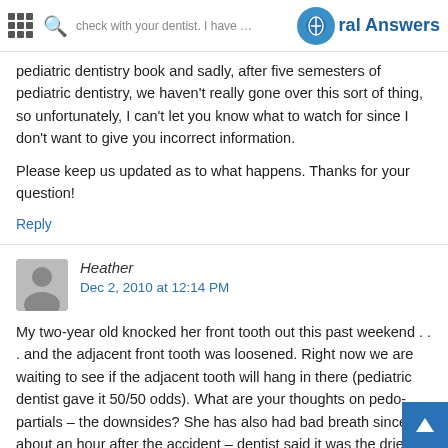Oral Answers
pediatric dentistry book and sadly, after five semesters of pediatric dentistry, we haven't really gone over this sort of thing, so unfortunately, I can't let you know what to watch for since I don't want to give you incorrect information.
Please keep us updated as to what happens. Thanks for your question!
Reply
Heather
Dec 2, 2010 at 12:14 PM
My two-year old knocked her front tooth out this past weekend . . . and the adjacent front tooth was loosened. Right now we are waiting to see if the adjacent tooth will hang in there (pediatric dentist gave it 50/50 odds). What are your thoughts on pedo-partials – the downsides? She has also had bad breath since about an hour after the accident – dentist said it was the dried blood . . . when will the smell go away (it has now been four days) – I'm worried that it might be